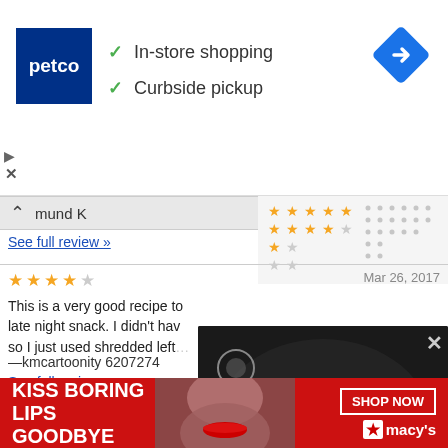[Figure (screenshot): Petco ad banner showing logo, In-store shopping and Curbside pickup checkmarks, and a blue navigation diamond icon]
[Figure (screenshot): Review section showing reviewer name 'mund K', a star rating histogram chart on the right, a 4-star review with text 'This is a very good recipe to... late night snack. I didn't hav... so I just used shredded left...' dated Mar 26, 2017, by kmcartoonity 6207274, with See full review link]
[Figure (screenshot): Video overlay popup showing Mr. Food logo and media player controls including mute button and close X]
Where is the Buffalo Chicken hot sauce in this?
[Figure (screenshot): Macy's advertisement banner: KISS BORING LIPS GOODBYE with a woman's face wearing red lipstick, SHOP NOW button and Macy's star logo]